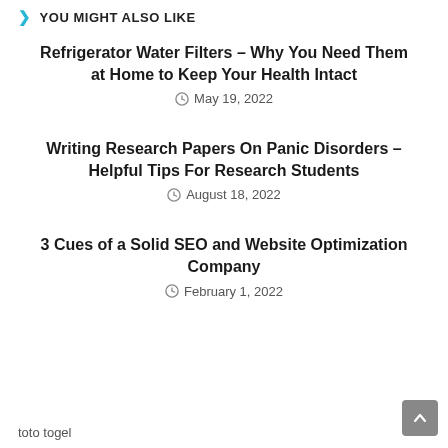YOU MIGHT ALSO LIKE
Refrigerator Water Filters – Why You Need Them at Home to Keep Your Health Intact
May 19, 2022
Writing Research Papers On Panic Disorders – Helpful Tips For Research Students
August 18, 2022
3 Cues of a Solid SEO and Website Optimization Company
February 1, 2022
toto togel